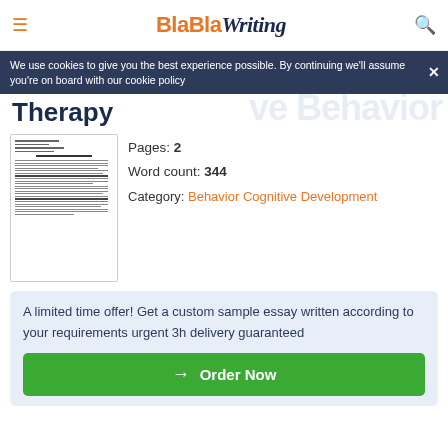BlaBlaWriting
We use cookies to give you the best experience possible. By continuing we'll assume you're on board with our cookie policy
Therapy
[Figure (other): Thumbnail preview of a document essay page]
Pages: 2
Word count: 344
Category: Behavior Cognitive Development
A limited time offer! Get a custom sample essay written according to your requirements urgent 3h delivery guaranteed
→ Order Now